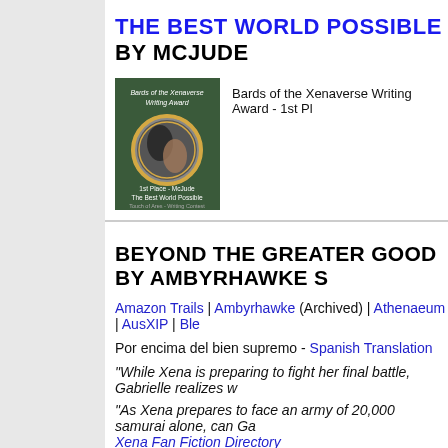THE BEST WORLD POSSIBLE BY MCJUDE
[Figure (illustration): Bards of the Xenaverse Writing Award badge - green background with yin-yang style image of two women, text reads '1st Place - McJude The Best World Possible, Touch of Ares Writing Contest']
Bards of the Xenaverse Writing Award - 1st Pl
BEYOND THE GREATER GOOD BY AMBYRHAWKE S
Amazon Trails | Ambyrhawke (Archived) | Athenaeum | AusXIP | Ble
Por encima del bien supremo - Spanish Translation
"While Xena is preparing to fight her final battle, Gabrielle realizes w
"As Xena prepares to face an army of 20,000 samurai alone, can Ga
Xena Fan Fiction Directory